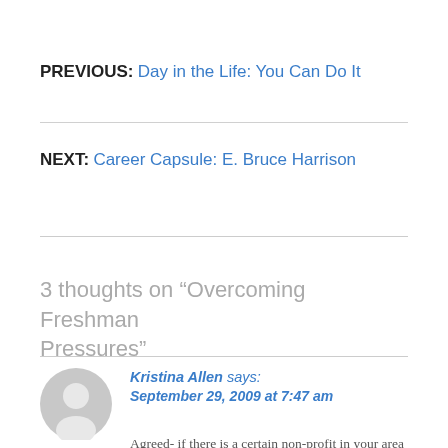PREVIOUS: Day in the Life: You Can Do It
NEXT: Career Capsule: E. Bruce Harrison
3 thoughts on “Overcoming Freshman Pressures”
Kristina Allen says: September 29, 2009 at 7:47 am
Agreed- if there is a certain non-profit in your area